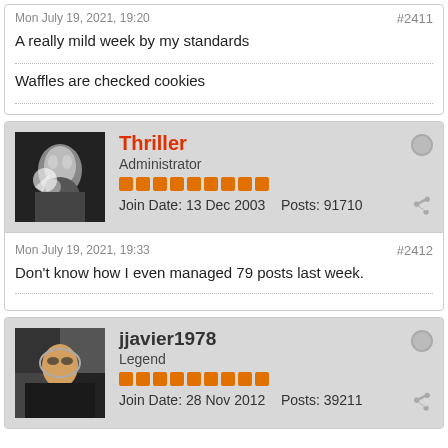Mon July 19, 2021, 19:20   #2411
A really mild week by my standards
Waffles are checked cookies
Thriller
Administrator
Join Date: 13 Dec 2003   Posts: 91710
Mon July 19, 2021, 19:33   #2412
Don't know how I even managed 79 posts last week.
jjavier1978
Legend
Join Date: 28 Nov 2012   Posts: 39211